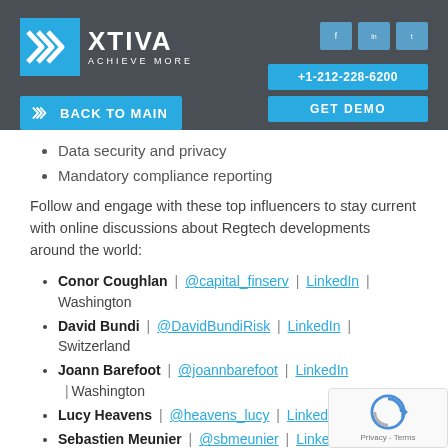[Figure (logo): Xtiva logo with chevron icon and tagline 'ACHIEVE MORE']
Data security and privacy
Mandatory compliance reporting
Follow and engage with these top influencers to stay current with online discussions about Regtech developments around the world:
Conor Coughlan | @capital_finserv | LinkedIn | Washington
David Bundi | @DavidBundiRisk | LinkedIn | Switzerland
Joann Barefoot | @joannbarefoot | LinkedIn | Washington
Lucy Heavens | @heavens_lucy | LinkedIn | London
Sebastien Meunier | @sbmeunier | LinkedIn | New York